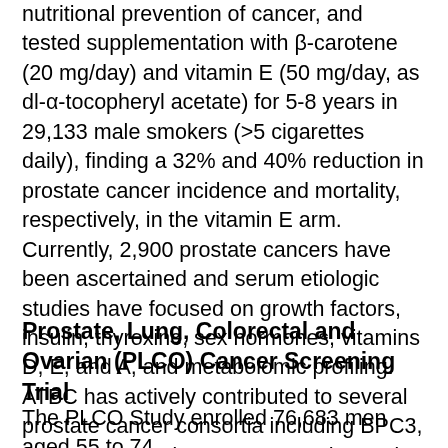nutritional prevention of cancer, and tested supplementation with β-carotene (20 mg/day) and vitamin E (50 mg/day, as dl-α-tocopheryl acetate) for 5-8 years in 29,133 male smokers (>5 cigarettes daily), finding a 32% and 40% reduction in prostate cancer incidence and mortality, respectively, in the vitamin E arm. Currently, 2,900 prostate cancers have been ascertained and serum etiologic studies have focused on growth factors, insulin, thyroxine, sex hormones, vitamins D, E, and A, and metabolomic profiling. ATBC has actively contributed to several prostate cancer consortia including BPC3, EHNPCCG, and PRACTICAL. The study has published nearly 100 prostate cancer research studies.
Prostate, Lung, Colorectal and Ovarian (PLCO) Cancer Screening Trial
The PLCO Study enrolled 76,683 men aged 55 to 74